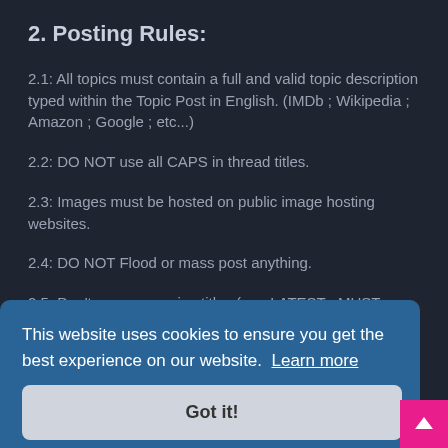2. Posting Rules:
2.1: All topics must contain a full and valid topic description typed within the Topic Post in English. (IMDb ; Wikipedia ; Amazon ; Google ; etc...)
2.2: DO NOT use all CAPS in thread titles.
2.3: Images must be hosted on public image hosting websites.
2.4: DO NOT Flood or mass post anything.
2.5: Don't use aggressive titles (e.g. LATEST ; MUST HAVE ; NEW VERSION)
2.6: Replies such as 'You're welcome' Mix for replies My
3. Adult (18+) Rules
3.1 DO NOT post any content featuring or referencing
This website uses cookies to ensure you get the best experience on our website. Learn more
Got it!